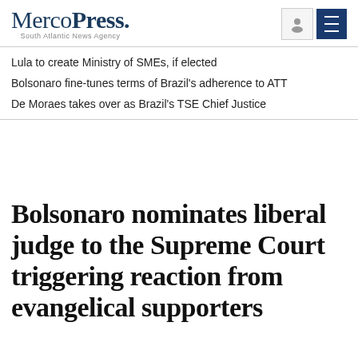MercoPress. South Atlantic News Agency
Lula to create Ministry of SMEs, if elected
Bolsonaro fine-tunes terms of Brazil's adherence to ATT
De Moraes takes over as Brazil's TSE Chief Justice
Bolsonaro nominates liberal judge to the Supreme Court triggering reaction from evangelical supporters